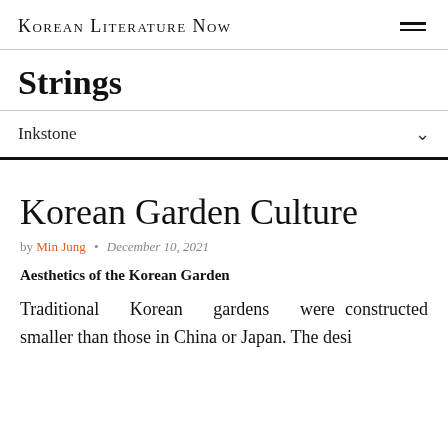Korean Literature Now
Strings
Inkstone
Korean Garden Culture
by Min Jung · December 10, 2021
Aesthetics of the Korean Garden
Traditional Korean gardens were constructed smaller than those in China or Japan. The design principles of each era and its...